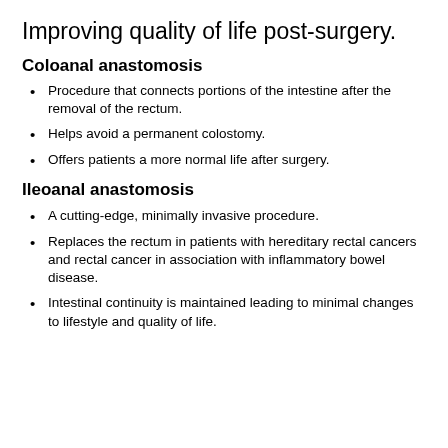Improving quality of life post-surgery.
Coloanal anastomosis
Procedure that connects portions of the intestine after the removal of the rectum.
Helps avoid a permanent colostomy.
Offers patients a more normal life after surgery.
Ileoanal anastomosis
A cutting-edge, minimally invasive procedure.
Replaces the rectum in patients with hereditary rectal cancers and rectal cancer in association with inflammatory bowel disease.
Intestinal continuity is maintained leading to minimal changes to lifestyle and quality of life.